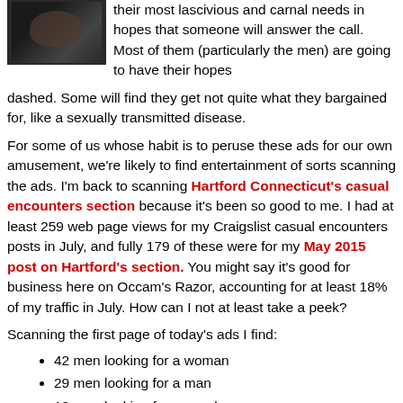[Figure (photo): Dark thumbnail photo in upper left, appears to show a person in shadow/silhouette]
their most lascivious and carnal needs in hopes that someone will answer the call. Most of them (particularly the men) are going to have their hopes dashed. Some will find they get not quite what they bargained for, like a sexually transmitted disease.
For some of us whose habit is to peruse these ads for our own amusement, we're likely to find entertainment of sorts scanning the ads. I'm back to scanning Hartford Connecticut's casual encounters section because it's been so good to me. I had at least 259 web page views for my Craigslist casual encounters posts in July, and fully 179 of these were for my May 2015 post on Hartford's section. You might say it's good for business here on Occam's Razor, accounting for at least 18% of my traffic in July. How can I not at least take a peek?
Scanning the first page of today's ads I find:
42 men looking for a woman
29 men looking for a man
12 men looking for a couple
2 men looking for a transgender
1 man looking for two women
10 women looking for a man